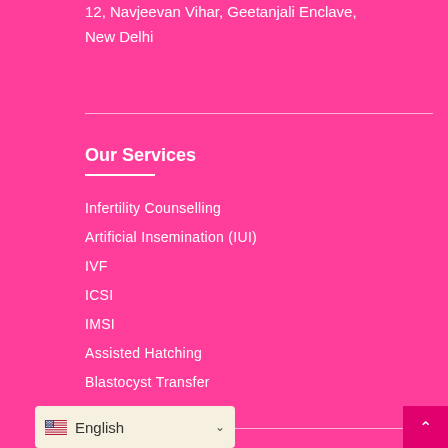12, Navjeevan Vihar, Geetanjali Enclave, New Delhi
Our Services
Infertility Counselling
Artificial Insemination (IUI)
IVF
ICSI
IMSI
Assisted Hatching
Blastocyst Transfer
Donor Egg IVF
English